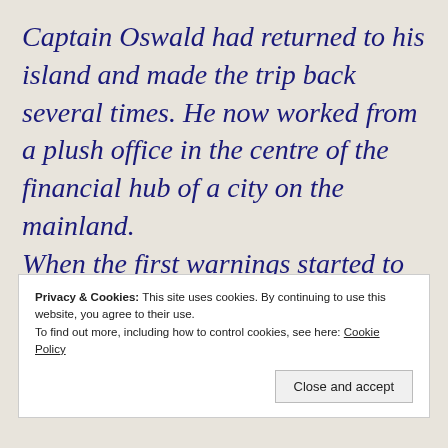Captain Oswald had returned to his island and made the trip back several times. He now worked from a plush office in the centre of the financial hub of a city on the mainland. When the first warnings started to come through, Captain Oswald was attending a plethora of meetings with his new partners
Privacy & Cookies: This site uses cookies. By continuing to use this website, you agree to their use. To find out more, including how to control cookies, see here: Cookie Policy
Close and accept